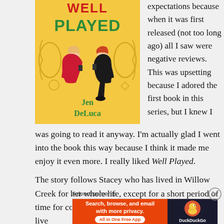[Figure (illustration): Book cover of 'Well Played' by Jen DeLuca. Yellow background with decorative swirls, title 'PLAYED' in green and red letters at top, two illustrated characters sitting back-to-back (a woman in red dress and a man in black), author name 'Jen DeLuca' in green text at bottom.]
expectations because when it was first released (not too long ago) all I saw were negative reviews. This was upsetting because I adored the first book in this series, but I knew I was going to read it anyway. I'm actually glad I went into the book this way because I think it made me enjoy it even more. I really liked Well Played.
The story follows Stacey who has lived in Willow Creek for her whole life, except for a short period of time for college. She always planned to leave and live
Advertisements
[Figure (screenshot): DuckDuckGo advertisement banner. Left side: orange/red background reading 'Search, browse, and email with more privacy. All in One Free App'. Right side: dark background with DuckDuckGo logo (duck icon) and brand name.]